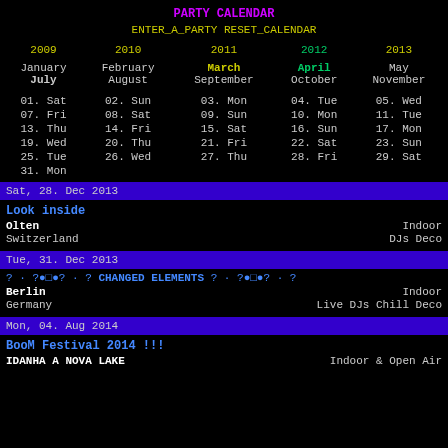PARTY CALENDAR
ENTER_A_PARTY RESET_CALENDAR
| 2009 | 2010 | 2011 | 2012 | 2013 |
| --- | --- | --- | --- | --- |
| January
July | February
August | March
September | April
October | May
November |
| 01. Sat
07. Fri
13. Thu
19. Wed
25. Tue
31. Mon | 02. Sun
08. Sat
14. Fri
20. Thu
26. Wed | 03. Mon
09. Sun
15. Sat
21. Fri
27. Thu | 04. Tue
10. Mon
16. Sun
22. Sat
28. Fri | 05. Wed
11. Tue
17. Mon
23. Sun
29. Sat |
Sat, 28. Dec 2013
Look inside
Olten
Switzerland
Indoor
DJs Deco
Tue, 31. Dec 2013
? · ? ● □ ● ? · ? CHANGED ELEMENTS ? · ? ● □ ● ? · ?
Berlin
Germany
Indoor
Live DJs Chill Deco
Mon, 04. Aug 2014
BooM Festival 2014 !!!
IDANHA A NOVA LAKE
Indoor & Open Air